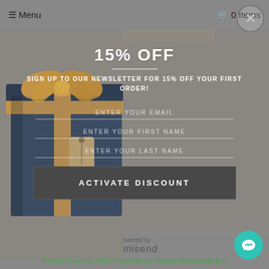≡ Menu    🛒 0 Items
[Figure (photo): Gift box wrapped in dark navy fabric with burlap ribbon and decorative tag, partially visible behind modal overlay]
15% OFF
SIGN UP TO OUR NEWSLETTER FOR 15% OFF YOUR FIRST ORDER!
ENTER YOUR EMAIL
ENTER YOUR FIRST NAME
ENTER YOUR LAST NAME
ACTIVATE DISCOUNT
Powered by omnisend
Parfait Charlotte 6901 Peach/Black Padded Balconette Bra